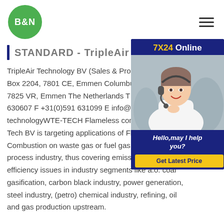B&N logo and navigation menu
STANDARD - TripleAir Tec...
[Figure (photo): Customer service representative with headset smiling, overlaid with '7X24 Online' banner, 'Hello, may I help you?' text, and 'Get Latest Price' button]
TripleAir Technology BV (Sales & Prod... Box 2204, 7801 CE, Emmen Columbus... 7825 VR, Emmen The Netherlands T +... 630607 F +31(0)591 631099 E info@tr... technologyWTE-TECH Flameless com... Tech BV is targeting applications of Fla... Combustion on waste gas or fuel gas utilization in the process industry, thus covering emission and energy efficiency issues in industry segments like a.o. coal gasification, carbon black industry, power generation, steel industry, (petro) chemical industry, refining, oil and gas production upstream.